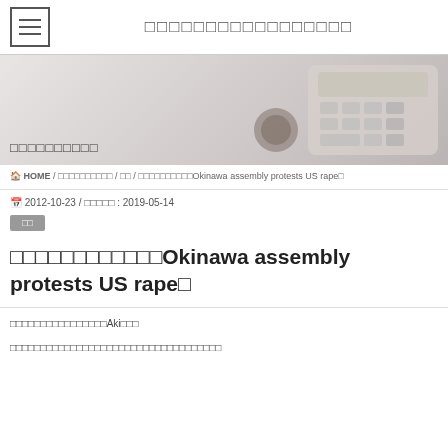□□□□□□□□□□□□□□□□□
[Figure (photo): Photo of a calculator, coffee cup, and documents on a desk. Top-right portion of the page.]
□□□□□□□□□□
HOME / □□□□□□□□□□ / □□ / □□□□□□□□□□Okinawa assembly protests US rape□
2012-10-23 / □□□□□ : 2019-05-14
□□
□□□□□□□□□□□□Okinawa assembly protests US rape□
□□□□□□□□□□□□□□□□Aki□□□
□□□□□□□□□□□□□□□□□□□□□□□□□□□□□□□□□□□